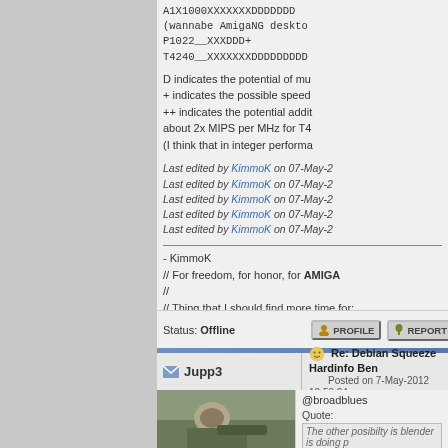A1X1000XXXXXXXDDDDDDD
(wannabe AmigaNG desktop
P1022__XXXDDD+
T4240__XXXXXXXDDDDDDDDD
D indicates the potential of mu...
+ indicates the possible speed...
++ indicates the potential addit...
about 2x MIPS per MHz for T4...
(I think that in integer performa...
Last edited by KimmoK on 07-May-2...
Last edited by KimmoK on 07-May-2...
Last edited by KimmoK on 07-May-2...
Last edited by KimmoK on 07-May-2...
Last edited by KimmoK on 07-May-2...
- KimmoK
// For freedom, for honor, for AMIGA
//
// Thing that I should find more time for:
Status: Offline
Jupp3
Re: Debian Squeeze Hardinfo Ben...
Posted on 7-May-2012 10:58:04
@broadblues
Quote:
The other posibilty is blender is doing p... rendering orientated benchmark if give...